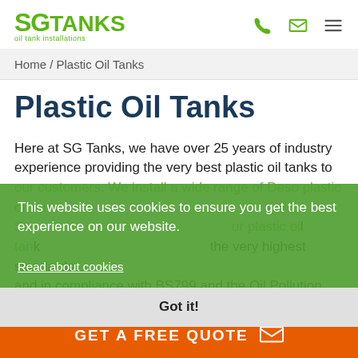[Figure (logo): SG Tanks logo with green text and subtitle 'oil tank installations', plus phone, mail, and hamburger menu icons]
Home / Plastic Oil Tanks
Plastic Oil Tanks
Here at SG Tanks, we have over 25 years of industry experience providing the very best plastic oil tanks to our customers. We install a wide range of Deso plastic oil tanks, specialising in Surrey manufactured to the very highest standards and in compliance with BS799 and the Oil Pollution Prevention Guidelines (England & Wales) 2002 (PPG 2 & PPG 5). They come with a 10 Year Guarantee. SG You
This website uses cookies to ensure you get the best experience on our website.
Read about cookies
Got it!
GET A FREE QUOTE